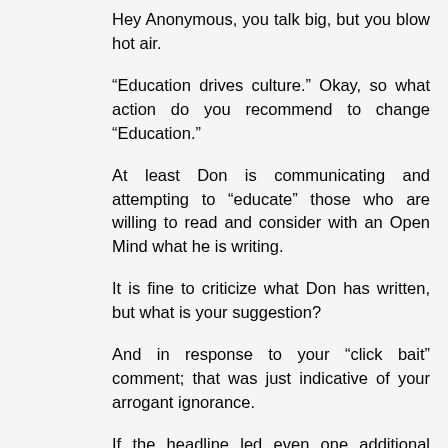Hey Anonymous, you talk big, but you blow hot air.
“Education drives culture.” Okay, so what action do you recommend to change “Education.”
At least Don is communicating and attempting to “educate” those who are willing to read and consider with an Open Mind what he is writing.
It is fine to criticize what Don has written, but what is your suggestion?
And in response to your “click bait” comment; that was just indicative of your arrogant ignorance.
If the headline led even one additional person to read this article, it did its job.
You seem to ignore that Don had a lengthy career in the news business. He knows what